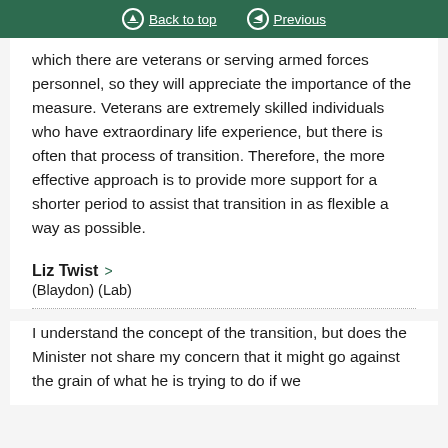Back to top   Previous
which there are veterans or serving armed forces personnel, so they will appreciate the importance of the measure. Veterans are extremely skilled individuals who have extraordinary life experience, but there is often that process of transition. Therefore, the more effective approach is to provide more support for a shorter period to assist that transition in as flexible a way as possible.
Liz Twist
(Blaydon) (Lab)
I understand the concept of the transition, but does the Minister not share my concern that it might go against the grain of what he is trying to do if we